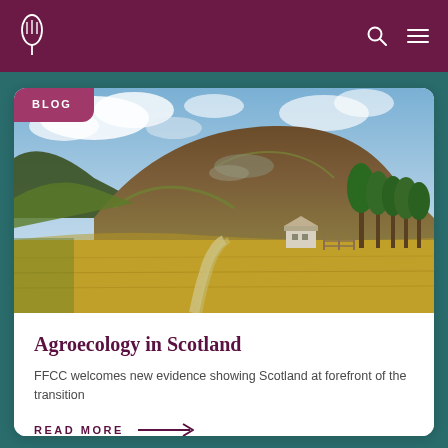BLOG
[Figure (photo): Scottish highland landscape with a winding path through golden fields, a farmhouse in the middle distance, green trees on the right, and a large brown hill under a cloudy sky]
Agroecology in Scotland
FFCC welcomes new evidence showing Scotland at forefront of the transition
READ MORE →